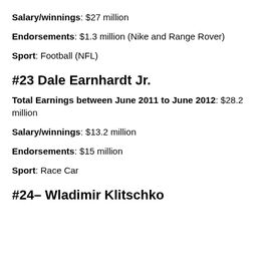Salary/winnings: $27 million
Endorsements: $1.3 million (Nike and Range Rover)
Sport: Football (NFL)
#23 Dale Earnhardt Jr.
Total Earnings between June 2011 to June 2012: $28.2 million
Salary/winnings: $13.2 million
Endorsements: $15 million
Sport: Race Car
#24– Wladimir Klitschko